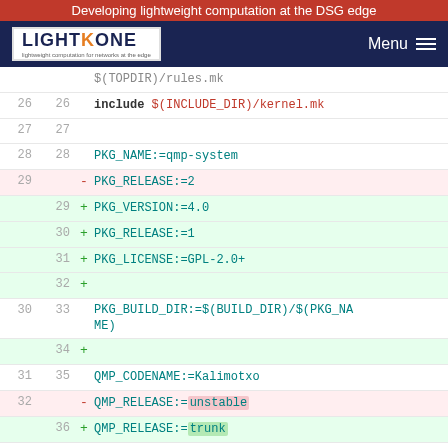Developing lightweight computation at the DSG edge
[Figure (screenshot): LightKone logo and navigation bar with Menu button]
$(TOPDIR)/rules.mk
26 26    include $(INCLUDE_DIR)/kernel.mk
27 27
28 28    PKG_NAME:=qmp-system
29      -  PKG_RELEASE:=2
   29   +  PKG_VERSION:=4.0
   30   +  PKG_RELEASE:=1
   31   +  PKG_LICENSE:=GPL-2.0+
   32   +
30 33    PKG_BUILD_DIR:=$(BUILD_DIR)/$(PKG_NAME)
   34   +
31 35    QMP_CODENAME:=Kalimotxo
32      -  QMP_RELEASE:=unstable
   36   +  QMP_RELEASE:=trunk
33 37    QMP_BUILDDATE:=$(shell date +%Y%m%d_%H%M)
34 38
35 39    include $(INCLUDE_DIR)/package.mk